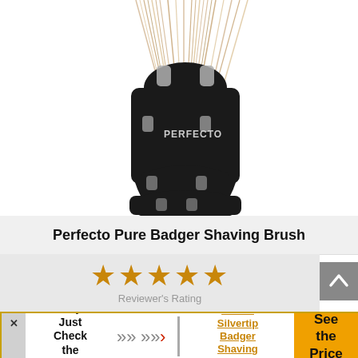[Figure (photo): Product photo of Perfecto Pure Badger Shaving Brush — black handle with silver PERFECTO logo and tan/beige badger hair bristles visible at top]
Perfecto Pure Badger Shaving Brush
[Figure (other): Five orange/gold star rating icons with text 'Reviewer's Rating' below]
Hurry? Just Check the Winner
Parker Silvertip Badger Shaving Brush
See the Price